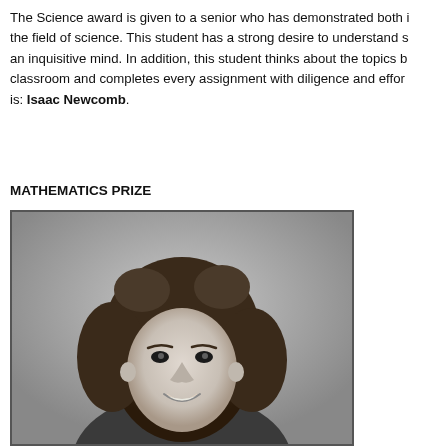The Science award is given to a senior who has demonstrated both interest in the field of science. This student has a strong desire to understand science and an inquisitive mind. In addition, this student thinks about the topics beyond the classroom and completes every assignment with diligence and effort. The winner is: Isaac Newcomb.
MATHEMATICS PRIZE
[Figure (photo): Black and white portrait photograph of a young woman with curly hair, smiling, shown from shoulders up.]